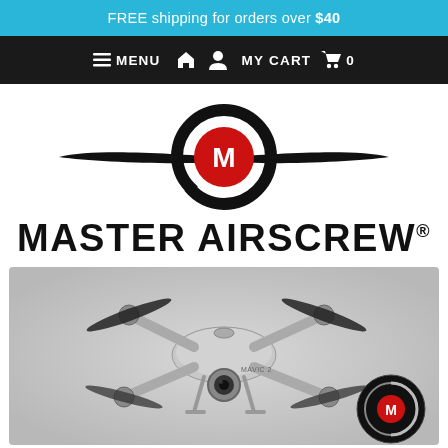FREE shipping for orders over $40
≡ MENU  🏠  👤  MY CART  🛒  0
[Figure (logo): Master Airscrew logo: black propeller blade silhouette with circular gear emblem containing red circle with white letter M]
MASTER AIRSCREW®
[Figure (photo): DJI Mavic 2 drone photographed from above on grey background, showing folded arms, black propellers, silver body with camera gimbal. Master Airscrew branded circular propeller logo visible in bottom-right corner.]